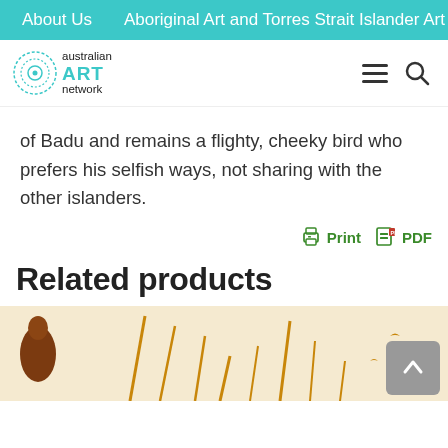About Us   Aboriginal Art and Torres Strait Islander Art
[Figure (logo): Australian Art Network logo — circular dotted ring with 'australian ART network' text]
of Badu and remains a flighty, cheeky bird who prefers his selfish ways, not sharing with the other islanders.
[Figure (other): Print and PDF buttons with printer and document icons in green]
Related products
[Figure (photo): Partial view of an artwork showing brown and golden/amber coloured figures and plants on a light background]